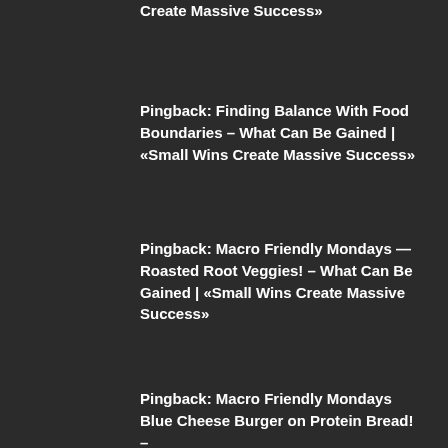Pingback: Finding Balance With Food Boundaries – What Can Be Gained | «Small Wins Create Massive Success»
Pingback: Macro Friendly Mondays — Roasted Root Veggies! – What Can Be Gained | «Small Wins Create Massive Success»
Pingback: Macro Friendly Mondays Blue Cheese Burger on Protein Bread! –